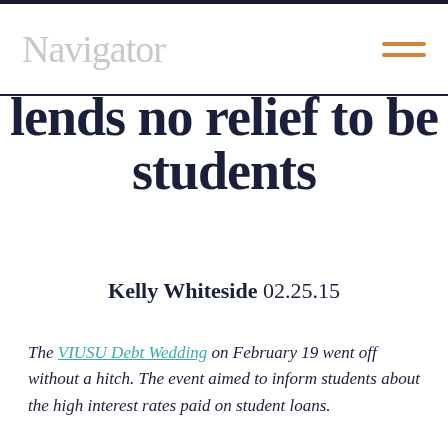Navigator
lends no relief to be students
Kelly Whiteside 02.25.15
The VIUSU Debt Wedding on February 19 went off without a hitch. The event aimed to inform students about the high interest rates paid on student loans.